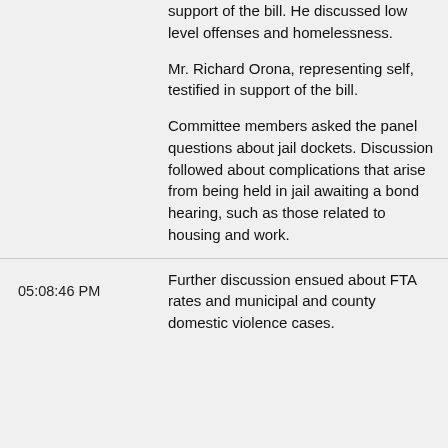support of the bill. He discussed low level offenses and homelessness.
Mr. Richard Orona, representing self, testified in support of the bill.
Committee members asked the panel questions about jail dockets. Discussion followed about complications that arise from being held in jail awaiting a bond hearing, such as those related to housing and work.
05:08:46 PM
Further discussion ensued about FTA rates and municipal and county domestic violence cases.